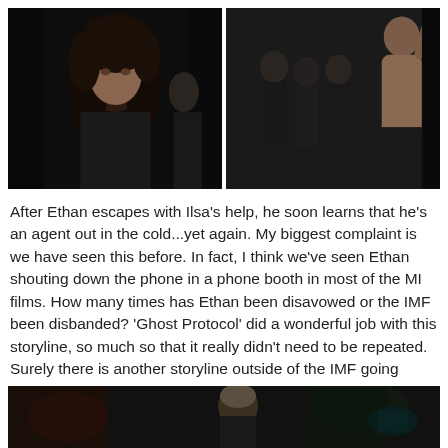[Figure (photo): Two side-by-side movie stills. Left: A woman with dark curly hair wearing black clothing, looking intensely at camera in a dark scene. Right: Three men in dark clothing facing a shirtless man with his back to the camera and hands raised.]
After Ethan escapes with Ilsa's help, he soon learns that he's an agent out in the cold...yet again. My biggest complaint is we have seen this before. In fact, I think we've seen Ethan shouting down the phone in a phone booth in most of the MI films. How many times has Ethan been disavowed or the IMF been disbanded? 'Ghost Protocol' did a wonderful job with this storyline, so much so that it really didn't need to be repeated. Surely there is another storyline outside of the IMF going down in flames?
[Figure (photo): Bottom movie still showing a dark scene with a figure with light hair visible.]